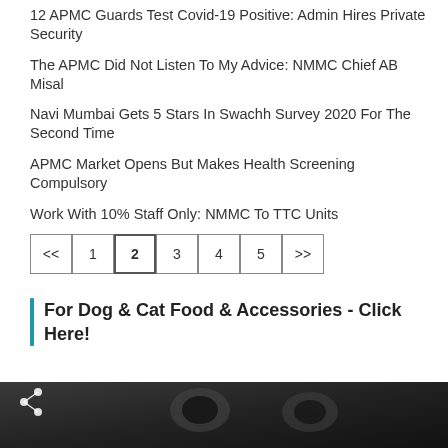12 APMC Guards Test Covid-19 Positive: Admin Hires Private Security
The APMC Did Not Listen To My Advice: NMMC Chief AB Misal
Navi Mumbai Gets 5 Stars In Swachh Survey 2020 For The Second Time
APMC Market Opens But Makes Health Screening Compulsory
Work With 10% Staff Only: NMMC To TTC Units
<< 1 2 3 4 5 >>
For Dog & Cat Food & Accessories - Click Here!
[Figure (photo): Grayscale close-up photo of a cat or animal face with a share icon visible at the bottom left]